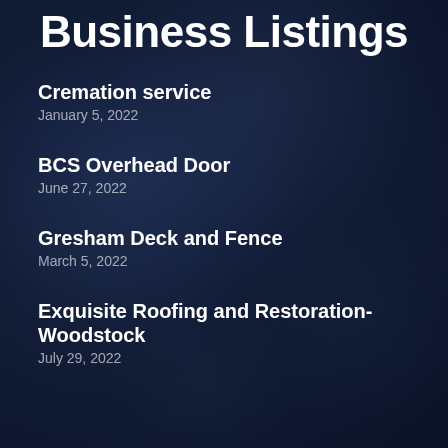Business Listings
Cremation service
January 5, 2022
BCS Overhead Door
June 27, 2022
Gresham Deck and Fence
March 5, 2022
Exquisite Roofing and Restoration- Woodstock
July 29, 2022